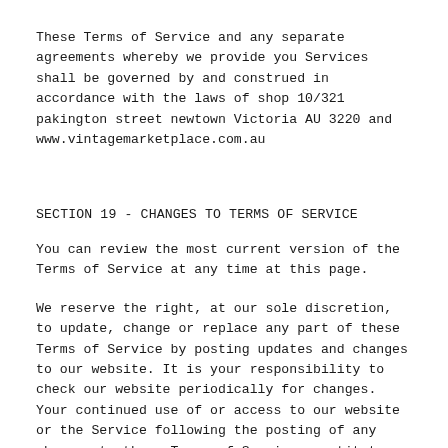These Terms of Service and any separate agreements whereby we provide you Services shall be governed by and construed in accordance with the laws of shop 10/321 pakington street newtown Victoria AU 3220 and www.vintagemarketplace.com.au
SECTION 19 - CHANGES TO TERMS OF SERVICE
You can review the most current version of the Terms of Service at any time at this page.
We reserve the right, at our sole discretion, to update, change or replace any part of these Terms of Service by posting updates and changes to our website. It is your responsibility to check our website periodically for changes. Your continued use of or access to our website or the Service following the posting of any changes to these Terms of Service constitutes acceptance of those changes.